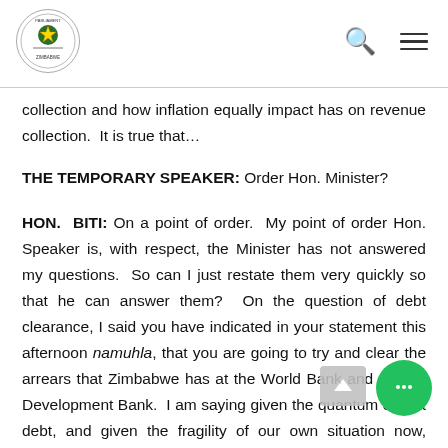Parliament of Zimbabwe
collection and how inflation equally impact has on revenue collection.  It is true that…
THE TEMPORARY SPEAKER: Order Hon. Minister?
HON. BITI: On a point of order.  My point of order Hon. Speaker is, with respect, the Minister has not answered my questions.  So can I just restate them very quickly so that he can answer them?  On the question of debt clearance, I said you have indicated in your statement this afternoon namuhla, that you are going to try and clear the arrears that Zimbabwe has at the World Bank and African Development Bank.  I am saying given the quantum of that debt, and given the fragility of our own situation now, which country is prepared to lend us the money that